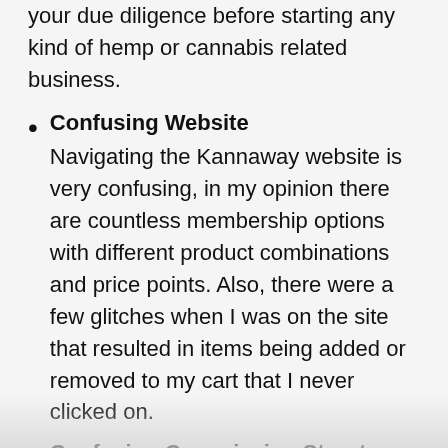your due diligence before starting any kind of hemp or cannabis related business.
Confusing Website
Navigating the Kannaway website is very confusing, in my opinion there are countless membership options with different product combinations and price points. Also, there were a few glitches when I was on the site that resulted in items being added or removed to my cart that I never clicked on.
Confusing Commission Structure
Kannaway has a very long document